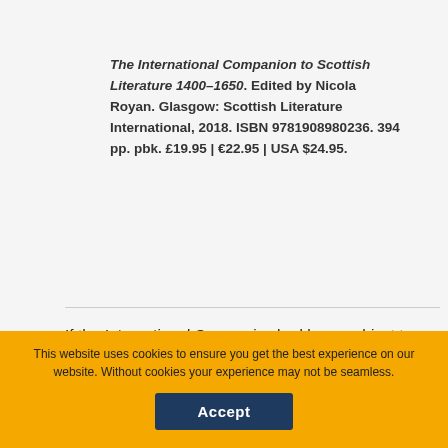The International Companion to Scottish Literature 1400–1650. Edited by Nicola Royan. Glasgow: Scottish Literature International, 2018. ISBN 9781908980236. 394 pp. pbk. £19.95 | €22.95 | USA $24.95.
If the International Companion had been subject to a prior Risk Assessment, it is unlikely that publication would have proceeded. Ser[ies editor] Brown and
You are not currently authenticated. If you would like to authenticate using a different subscribed institution or
This website uses cookies to ensure you get the best experience on our website. Without cookies your experience may not be seamless.
Accept